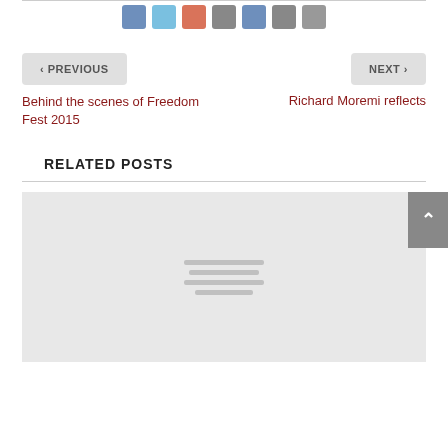[Figure (other): Social sharing icon buttons (Facebook, Twitter, Google+, Phone, LinkedIn, Email, Print) in gray rounded squares]
< PREVIOUS
NEXT >
Behind the scenes of Freedom Fest 2015
Richard Moremi reflects
RELATED POSTS
[Figure (other): Gray placeholder image with three horizontal lines representing a loading or placeholder thumbnail]